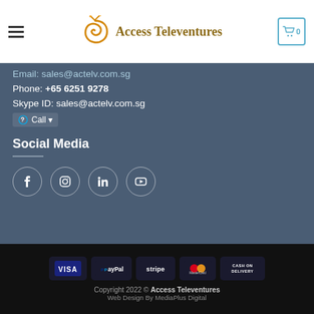Access Televentures
Email: sales@actelv.com.sg
Phone: +65 6251 9278
Skype ID: sales@actelv.com.sg
Call
Social Media
[Figure (illustration): Social media icons: Facebook, Instagram, LinkedIn, YouTube in circular outlines]
[Figure (infographic): Payment method badges: VISA, PayPal, stripe, MasterCard, CASH ON DELIVERY]
Copyright 2022 © Access Televentures
Web Design By MediaPlus Digital